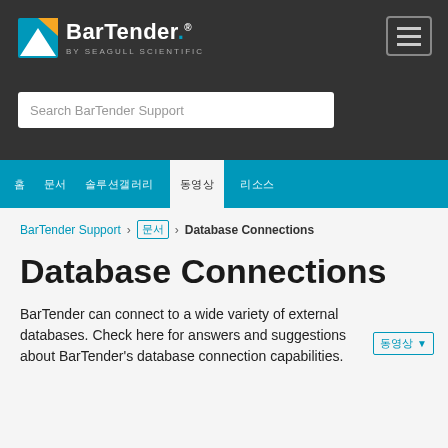[Figure (logo): BarTender by Seagull Scientific logo with icon on dark background]
Search BarTender Support
홈   문서   솔루션갤러리   동영상   리소스
BarTender Support › 문서 › Database Connections
Database Connections
BarTender can connect to a wide variety of external databases. Check here for answers and suggestions about BarTender's database connection capabilities.